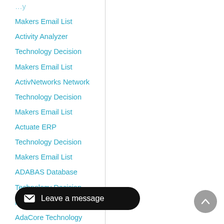Makers Email List
Activity Analyzer
Technology Decision
Makers Email List
ActivNetworks Network
Technology Decision
Makers Email List
Actuate ERP
Technology Decision
Makers Email List
ADABAS Database
Technology Decision
Makers Email List
AdaCore Technology
Decision Makers Email
Adaptec Hardware